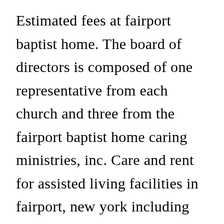Estimated fees at fairport baptist home. The board of directors is composed of one representative from each church and three from the fairport baptist home caring ministries, inc. Care and rent for assisted living facilities in fairport, new york including fairport baptist homes adult care facility will depend on a variety of factors. 1030 whitney road, fairport, ny 14450 fairport apartments opened its doors in 1972, providing 104 affordable senior apartments on the grounds of the fairport